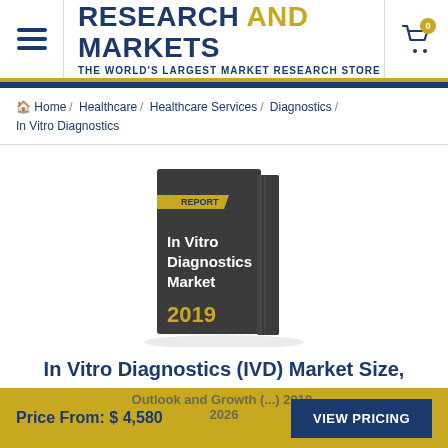RESEARCH AND MARKETS — THE WORLD'S LARGEST MARKET RESEARCH STORE
Home / Healthcare / Healthcare Services / Diagnostics / In Vitro Diagnostics
[Figure (photo): Book cover image labeled 'REPORT' with title 'In Vitro Diagnostics Market' and year '2019' on dark grey cover]
In Vitro Diagnostics (IVD) Market Size,
Outlook and Growth ... 2019-2026
Price From: $ 4,580  VIEW PRICING